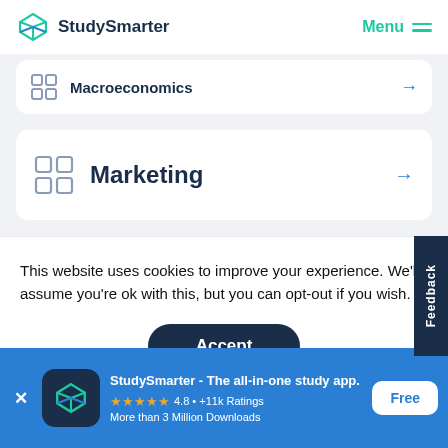StudySmarter  Menu
Macroeconomics →
Marketing →
This website uses cookies to improve your experience. We'll assume you're ok with this, but you can opt-out if you wish.
Accept
Macroeconomics →
StudySmarter - The all-in-one study app. ★★★★★ 4.8 • +11k Ratings More than 3 Million Downloads Free